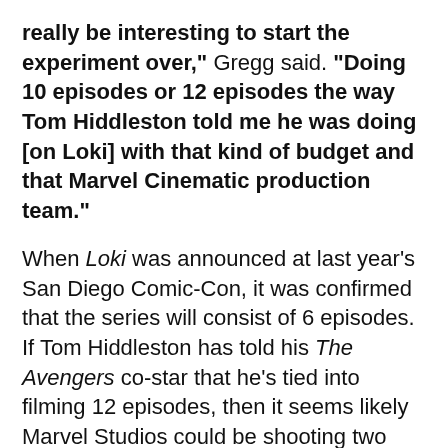really be interesting to start the experiment over," Gregg said. "Doing 10 episodes or 12 episodes the way Tom Hiddleston told me he was doing [on Loki] with that kind of budget and that Marvel Cinematic production team."
When Loki was announced at last year's San Diego Comic-Con, it was confirmed that the series will consist of 6 episodes. If Tom Hiddleston has told his The Avengers co-star that he's tied into filming 12 episodes, then it seems likely Marvel Studios could be shooting two seasons back to back. However, as production was halted due to the global pandemic, we cannot say for sure.
This page would have more text below that is cut off.